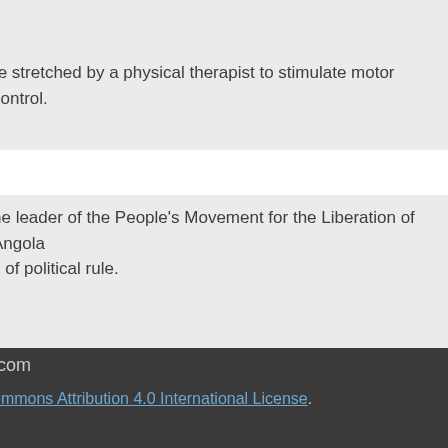re stretched by a physical therapist to stimulate motor control.
he leader of the People's Movement for the Liberation of Angola s of political rule.
ns of others missing in a market in southern Angola.
.com Commons Attribution 4.0 International License.